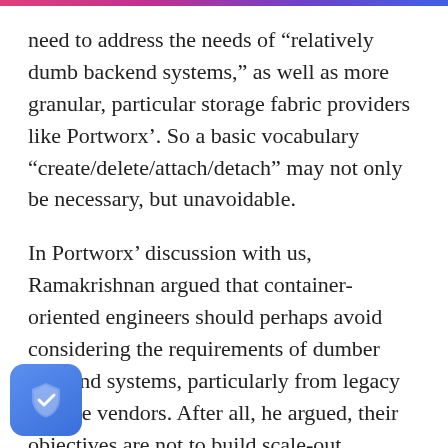need to address the needs of “relatively dumb backend systems,” as well as more granular, particular storage fabric providers like Portworx’. So a basic vocabulary “create/delete/attach/detach” may not only be necessary, but unavoidable.
In Portworx’ discussion with us, Ramakrishnan argued that container-oriented engineers should perhaps avoid considering the requirements of dumber backend systems, particularly from legacy storage vendors. After all, he argued, their objectives are not to build scale-out systems, or even to completely containerize their applications.
ng in the position where we are at Portworx,